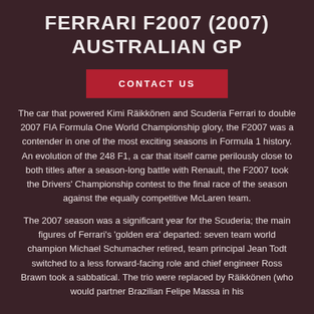FERRARI F2007 (2007) AUSTRALIAN GP
CONTACT US
The car that powered Kimi Räikkönen and Scuderia Ferrari to double 2007 FIA Formula One World Championship glory, the F2007 was a contender in one of the most exciting seasons in Formula 1 history. An evolution of the 248 F1, a car that itself came perilously close to both titles after a season-long battle with Renault, the F2007 took the Drivers' Championship contest to the final race of the season against the equally competitive McLaren team.
The 2007 season was a significant year for the Scuderia; the main figures of Ferrari's 'golden era' departed: seven team world champion Michael Schumacher retired, team principal Jean Todt switched to a less forward-facing role and chief engineer Ross Brawn took a sabbatical. The trio were replaced by Räikkönen (who would partner Brazilian Felipe Massa in his